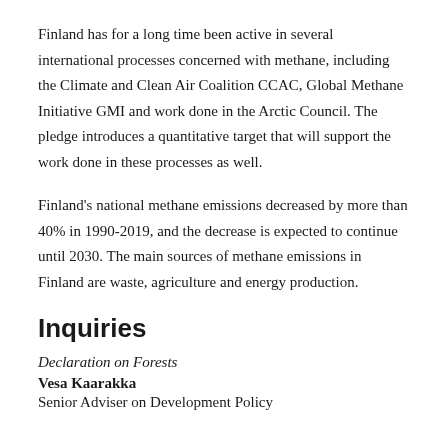Finland has for a long time been active in several international processes concerned with methane, including the Climate and Clean Air Coalition CCAC, Global Methane Initiative GMI and work done in the Arctic Council. The pledge introduces a quantitative target that will support the work done in these processes as well.
Finland's national methane emissions decreased by more than 40% in 1990-2019, and the decrease is expected to continue until 2030. The main sources of methane emissions in Finland are waste, agriculture and energy production.
Inquiries
Declaration on Forests
Vesa Kaarakka
Senior Adviser on Development Policy